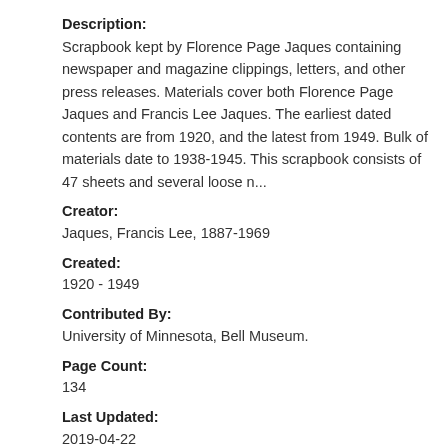Description:
Scrapbook kept by Florence Page Jaques containing newspaper and magazine clippings, letters, and other press releases. Materials cover both Florence Page Jaques and Francis Lee Jaques. The earliest dated contents are from 1920, and the latest from 1949. Bulk of materials date to 1938-1945. This scrapbook consists of 47 sheets and several loose n...
Creator:
Jaques, Francis Lee, 1887-1969
Created:
1920 - 1949
Contributed By:
University of Minnesota, Bell Museum.
Page Count:
134
Last Updated:
2019-04-22
[Figure (photo): Dark thumbnail image of a scrapbook page]